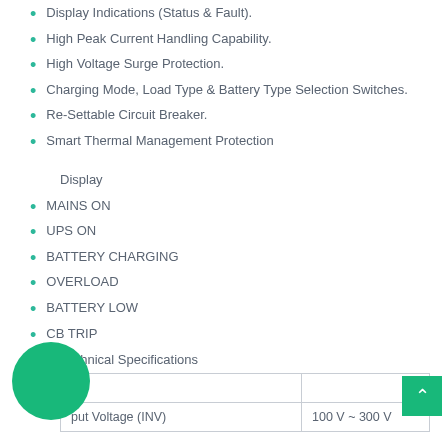Display Indications (Status & Fault).
High Peak Current Handling Capability.
High Voltage Surge Protection.
Charging Mode, Load Type & Battery Type Selection Switches.
Re-Settable Circuit Breaker.
Smart Thermal Management Protection
Display
MAINS ON
UPS ON
BATTERY CHARGING
OVERLOAD
BATTERY LOW
CB TRIP
Technical Specifications
| Input |  |
| --- | --- |
| Input Voltage (INV) | 100 V ~ 300 V |